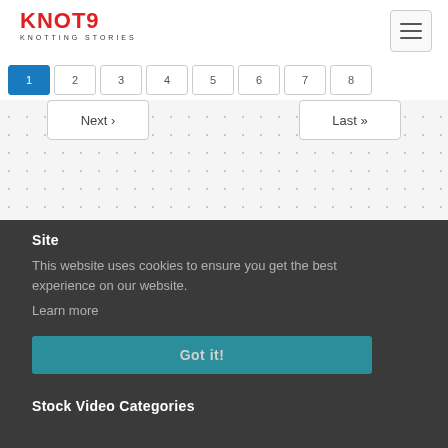KNOT9 KNOTTING STORIES
Next › Last »
Site
This website uses cookies to ensure you get the best experience on our website. Learn more
Got it!
Stock Video Categories